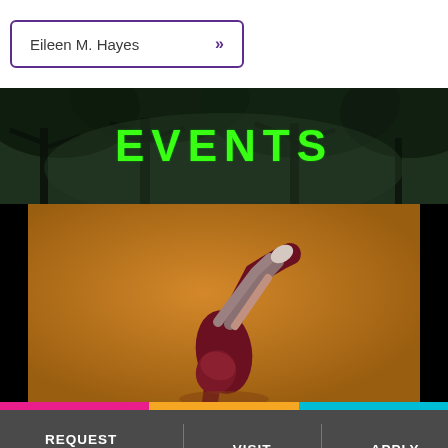Eileen M. Hayes »
EVENTS
[Figure (photo): A dancer in dark red/maroon costume and headwrap performing an acrobatic move against an orange/amber background, with one leg raised high.]
REQUEST INFORMATION | VISIT | APPLY